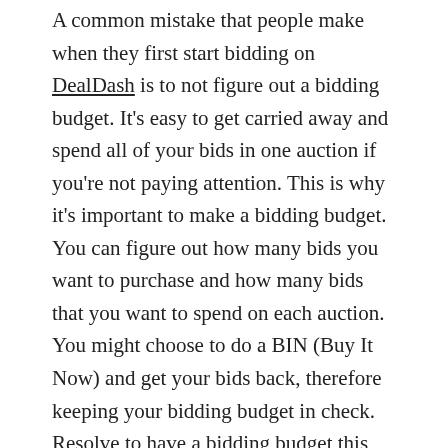A common mistake that people make when they first start bidding on DealDash is to not figure out a bidding budget. It's easy to get carried away and spend all of your bids in one auction if you're not paying attention. This is why it's important to make a bidding budget. You can figure out how many bids you want to purchase and how many bids that you want to spend on each auction. You might choose to do a BIN (Buy It Now) and get your bids back, therefore keeping your bidding budget in check. Resolve to have a bidding budget this year and you will be glad that you did.
Thanks for Reading the Blog